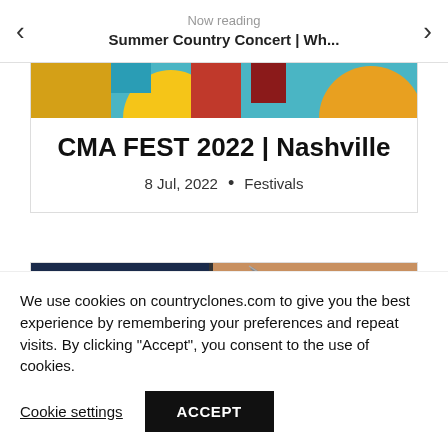Now reading
Summer Country Concert | Wh...
[Figure (photo): Colorful abstract/graphic image with red, yellow, teal, and orange shapes — partial crop at top of card]
CMA FEST 2022 | Nashville
8 Jul, 2022 • Festivals
[Figure (photo): Collage of concert/event images — close-up of a person with long nails writing, dark blue background with logo on left]
We use cookies on countryclones.com to give you the best experience by remembering your preferences and repeat visits. By clicking "Accept", you consent to the use of cookies.
Cookie settings    ACCEPT